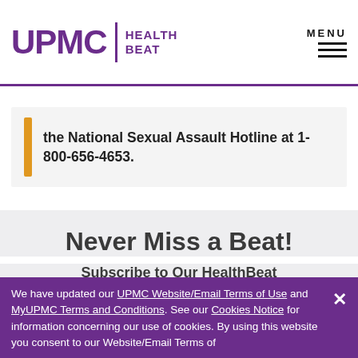UPMC HEALTH BEAT | MENU
the National Sexual Assault Hotline at 1-800-656-4653.
Never Miss a Beat!
Subscribe to Our HealthBeat Newsletter!
Enter your email to subscribe
We have updated our UPMC Website/Email Terms of Use and MyUPMC Terms and Conditions. See our Cookies Notice for information concerning our use of cookies. By using this website you consent to our Website/Email Terms of